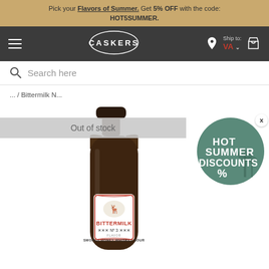Pick your Flavors of Summer. Get 5% OFF with the code: HOT5SUMMER.
CASKERS — Ship to: VA
Search here
... / Bittermilk N...
Out of stock
[Figure (photo): A dark amber glass bottle of Bittermilk No 3 Smoked Honey Whiskey Sour cocktail mixer, with a label showing a moose illustration, the brand name BITTERMILK in red, No 3, and the flavor name SMOKED HONEY WHISKEY SOUR]
[Figure (infographic): Circular badge with teal/green background showing HOT SUMMER DISCOUNTS % text with palm trees silhouette, and a close (X) button in the top right corner]